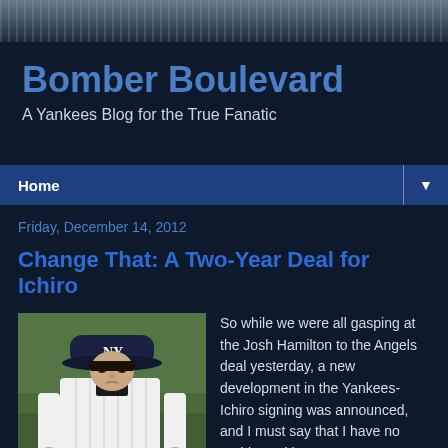[Figure (photo): Blurred crowd/stadium photo used as website banner header]
Bomber Boulevard
A Yankees Blog for the True Fanatic
Home ▼
Friday, December 14, 2012
Change That: A Two-Year Deal for Ichiro
[Figure (photo): Photo of Ichiro Suzuki in New York Yankees uniform, head down, wearing NY cap]
So while we were all gasping at the Josh Hamilton to the Angels deal yesterday, a new development in the Yankees-Ichiro signing was announced, and I must say that I have no problem with